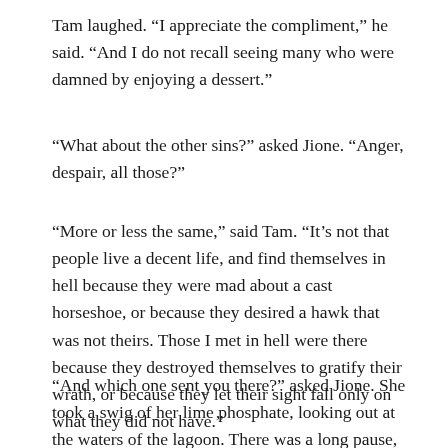Tam laughed. “I appreciate the compliment,” he said. “And I do not recall seeing many who were damned by enjoying a dessert.”
“What about the other sins?” asked Jione. “Anger, despair, all those?”
“More or less the same,” said Tam. “It’s not that people live a decent life, and find themselves in hell because they were mad about a cast horseshoe, or because they desired a hawk that was not theirs. Those I met in hell were there because they destroyed themselves to gratify their wrath, or because they let their sight fall only on what they did not have.”
“And which one sent you there?” asked Jione. She took a swig of her lime phosphate, looking out at the waters of the lagoon. There was a long pause, but she didn’t look over at Tam, didn’t want to see if she’d been wrong to ask.